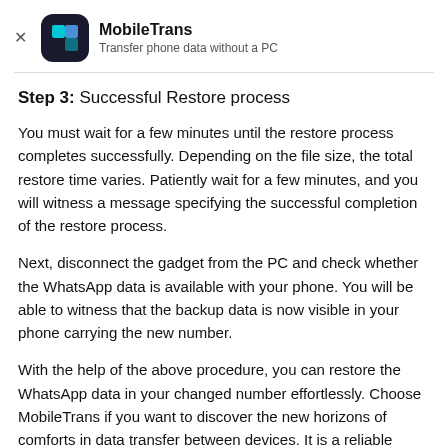MobileTrans – Transfer phone data without a PC
Step 3: Successful Restore process
You must wait for a few minutes until the restore process completes successfully. Depending on the file size, the total restore time varies. Patiently wait for a few minutes, and you will witness a message specifying the successful completion of the restore process.
Next, disconnect the gadget from the PC and check whether the WhatsApp data is available with your phone. You will be able to witness that the backup data is now visible in your phone carrying the new number.
With the help of the above procedure, you can restore the WhatsApp data in your changed number effortlessly. Choose MobileTrans if you want to discover the new horizons of comforts in data transfer between devices. It is a reliable